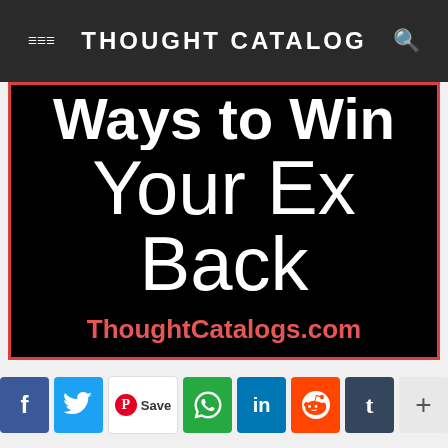THOUGHT CATALOG
[Figure (illustration): Black background image with white text reading 'Ways to Win Your Ex Back' and red text 'ThoughtCatalogs.com', with a red border]
ThoughtCatalogs.com
Social share buttons: Facebook, Twitter, Pinterest Save, WhatsApp, LinkedIn, Reddit, Tumblr, More